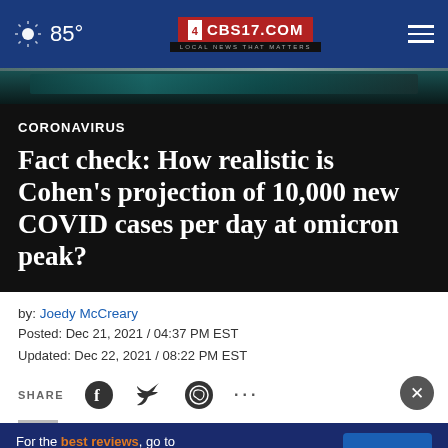85° CBS17.COM LOCAL NEWS THAT MATTERS
[Figure (screenshot): Partial hero image of a dark teal/teal background, appears to be a video thumbnail]
CORONAVIRUS
Fact check: How realistic is Cohen’s projection of 10,000 new COVID cases per day at omicron peak?
by: Joedy McCreary
Posted: Dec 21, 2021 / 04:37 PM EST
Updated: Dec 22, 2021 / 08:22 PM EST
SHARE
[Figure (infographic): Advertisement banner: For the best reviews, go to BESTREVIEWS with Go Now button]